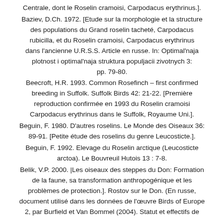Centrale, dont le Roselin cramoisi, Carpodacus erythrinus.].
Baziev, D.Ch. 1972. [Etude sur la morphologie et la structure des populations du Grand roselin tacheté, Carpodacus rubicilla, et du Roselin cramoisi, Carpodacus erythrinus dans l'ancienne U.R.S.S. Article en russe. In: Optimal'naja plotnost i optimal'naja struktura populjacii zivotnych 3: pp. 79-80.
Beecroft, H.R. 1993. Common Rosefinch – first confirmed breeding in Suffolk. Suffolk Birds 42: 21-22. [Première reproduction confirmée en 1993 du Roselin cramoisi Carpodacus erythrinus dans le Suffolk, Royaume Uni.].
Beguin, F. 1980. D'autres roselins. Le Monde des Oiseaux 36: 89-91. [Petite étude des roselins du genre Leucosticte.].
Beguin, F. 1992. Elevage du Roselin arctique (Leucosticte arctoa). Le Bouvreuil Hutois 13 : 7-8.
Belik, V.P. 2000. |Les oiseaux des steppes du Don: Formation de la faune, sa transformation anthropogénique et les problèmes de protection.]. Rostov sur le Don. (En russe, document utilisé dans les données de l'œuvre Birds of Europe 2, par Burfield et Van Bommel (2004). Statut et effectifs de